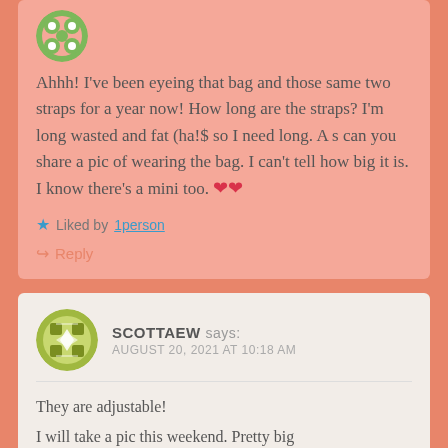Ahhh! I've been eyeing that bag and those same two straps for a year now! How long are the straps? I'm long wasted and fat (ha!$ so I need long. As can you share a pic of wearing the bag. I can't tell how big it is. I know there's a mini too. ❤❤
Liked by 1person
Reply
SCOTTAEW says: AUGUST 20, 2021 AT 10:18 AM
They are adjustable!
I will take a pic this weekend. Pretty big
Maybe 7 x 9?